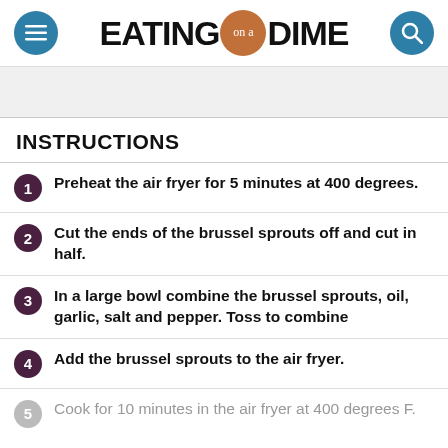EATING on a DIME
INSTRUCTIONS
Preheat the air fryer for 5 minutes at 400 degrees.
Cut the ends of the brussel sprouts off and cut in half.
In a large bowl combine the brussel sprouts, oil, garlic, salt and pepper. Toss to combine
Add the brussel sprouts to the air fryer.
Cook for 10 minutes in the air fryer at 400 degrees F.